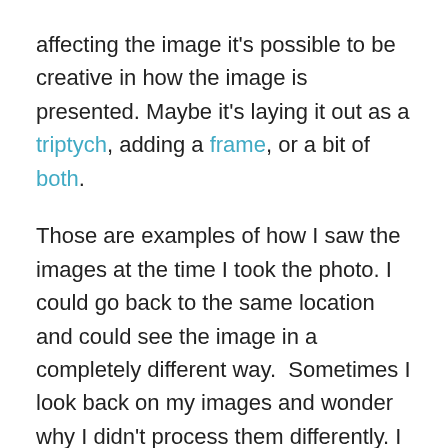affecting the image it's possible to be creative in how the image is presented. Maybe it's laying it out as a triptych, adding a frame, or a bit of both.
Those are examples of how I saw the images at the time I took the photo. I could go back to the same location and could see the image in a completely different way.  Sometimes I look back on my images and wonder why I didn't process them differently. I suppose if I ever run out of images to post I can always go through my collection and re-process the image so I can post it as a 'new' photo 🙂